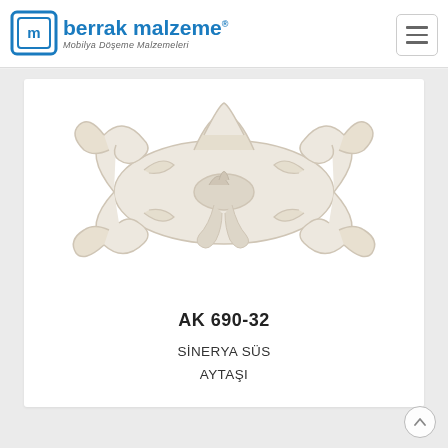TR | EN
[Figure (logo): Berrak Malzeme logo with icon and text 'berrak malzeme® Mobilya Döşeme Malzemeleri']
[Figure (photo): White decorative ornament/applique in baroque floral scroll style (Sinerya Süs Aytaşı) on white background]
AK 690-32
SİNERYA SÜS
AYTAŞI